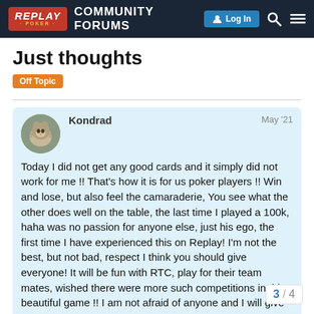Replay Poker COMMUNITY FORUMS Log In
Just thoughts
Off Topic
Kondrad May '21
Today I did not get any good cards and it simply did not work for me !! That's how it is for us poker players !! Win and lose, but also feel the camaraderie, You see what the other does well on the table, the last time I played a 100k, haha was no passion for anyone else, just his ego, the first time I have experienced this on Replay! I'm not the best, but not bad, respect I think you should give everyone! It will be fun with RTC, play for their team mates, wished there were more such competitions in this beautiful game !! I am not afraid of anyone and I will give respect to everyone, I just want to play this want to win, but not at any price, it's just a
3 / 4